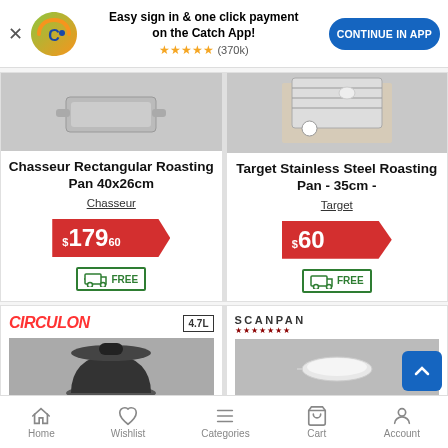[Figure (screenshot): App promotion banner with Catch logo, 'Easy sign in & one click payment on the Catch App!' text, star rating (370k), and CONTINUE IN APP button]
[Figure (photo): Chasseur Rectangular Roasting Pan product image]
Chasseur Rectangular Roasting Pan 40x26cm
Chasseur
$179.60
FREE delivery
[Figure (photo): Target Stainless Steel Roasting Pan product image]
Target Stainless Steel Roasting Pan - 35cm -
Target
$60
FREE delivery
[Figure (photo): Circulon product with 4.7L badge - partial view]
[Figure (photo): Scanpan product - partial view]
Home  Wishlist  Categories  Cart  Account